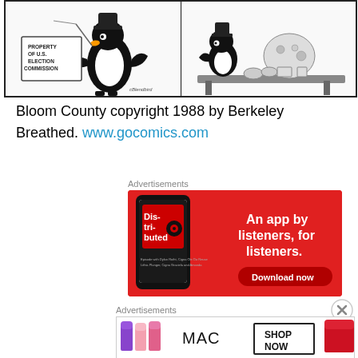[Figure (illustration): Bloom County comic strip panel showing cartoon characters, one holding a sign reading 'PROPERTY OF U.S. ELECTION COMMISSION' and another scene with characters at a table]
Bloom County copyright 1988 by Berkeley Breathed. www.gocomics.com
Advertisements
[Figure (infographic): Red advertisement banner for a podcast app. Shows a phone displaying 'Dis-tri-buted' podcast. Text reads: An app by listeners, for listeners. Download now button.]
Advertisements
[Figure (infographic): MAC cosmetics advertisement showing colored lipsticks, MAC logo, and SHOP NOW button]